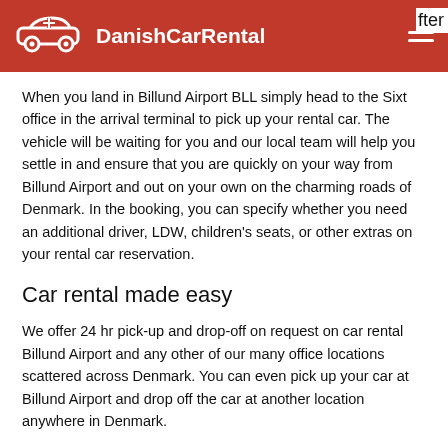DanishCarRental
When you land in Billund Airport BLL simply head to the Sixt office in the arrival terminal to pick up your rental car. The vehicle will be waiting for you and our local team will help you settle in and ensure that you are quickly on your way from Billund Airport and out on your own on the charming roads of Denmark. In the booking, you can specify whether you need an additional driver, LDW, children's seats, or other extras on your rental car reservation.
Car rental made easy
We offer 24 hr pick-up and drop-off on request on car rental Billund Airport and any other of our many office locations scattered across Denmark. You can even pick up your car at Billund Airport and drop off the car at another location anywhere in Denmark.
To rent a car on our website simply choose your pick-up date, see our best deals, and book a rental car that fits your needs. We pride ourselves in friendly and hassle-free car rental